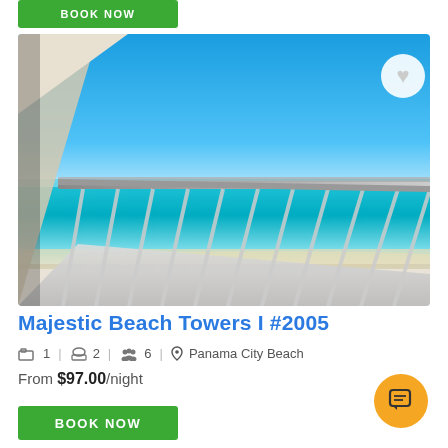BOOK NOW
[Figure (photo): View from a high-rise balcony overlooking the Gulf of Mexico with turquoise water, white sand beach, and bright blue sky. White metal railing visible in the foreground.]
Majestic Beach Towers I #2005
1 bedroom | 2 bathrooms | 6 guests | Panama City Beach
From $97.00/night
BOOK NOW